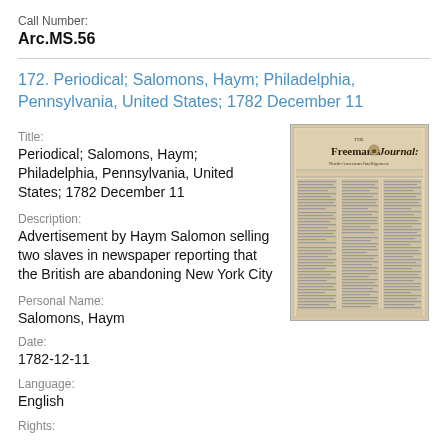Call Number:
Arc.MS.56
172. Periodical; Salomons, Haym; Philadelphia, Pennsylvania, United States; 1782 December 11
Title:
Periodical; Salomons, Haym; Philadelphia, Pennsylvania, United States; 1782 December 11
[Figure (photo): Photograph of the front page of Freeman's Journal: North-American Intelligencer newspaper, a historical document from 1782]
Description:
Advertisement by Haym Salomon selling two slaves in newspaper reporting that the British are abandoning New York City
Personal Name:
Salomons, Haym
Date:
1782-12-11
Language:
English
Rights: